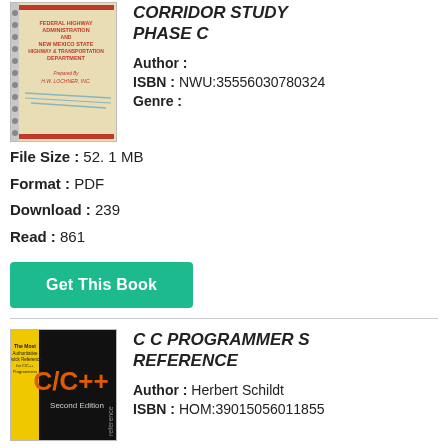[Figure (photo): Book cover for Corridor Study Phase C, featuring Federal Highway Administration and New Mexico State Highway and Transportation Department, prepared by H.W. Lochner Inc.]
CORRIDOR STUDY PHASE C
Author :
ISBN : NWU:35556030780324
Genre :
File Size : 52. 1 MB
Format : PDF
Download : 239
Read : 861
[Figure (other): Get This Book button (teal/green)]
[Figure (photo): Book cover for C C Programmer S Reference, C/C++ Second Edition by Herbert Schildt]
C C PROGRAMMER S REFERENCE
Author : Herbert Schildt
ISBN : HOM:39015056011855